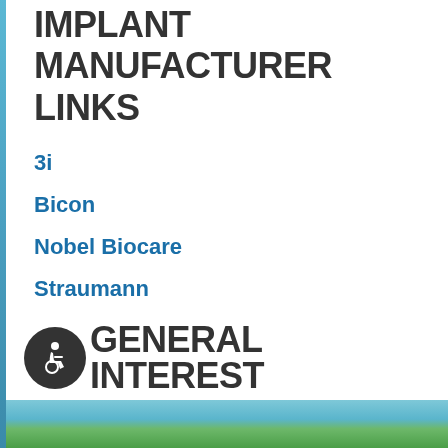IMPLANT MANUFACTURER LINKS
3i
Bicon
Nobel Biocare
Straumann
Zimmer Dental
Back to Top ↑
GENERAL INTEREST